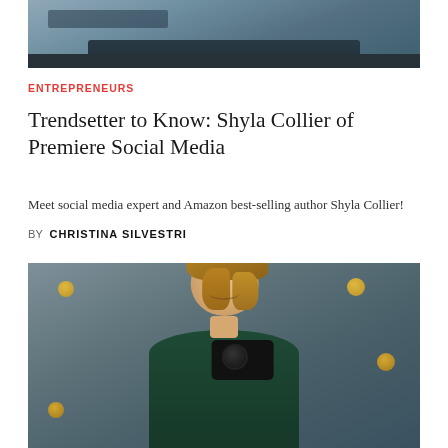[Figure (photo): Top portion of a photo showing a person working on a laptop at a dark table, cropped to show hands and laptop.]
ENTREPRENEURS
Trendsetter to Know: Shyla Collier of Premiere Social Media
Meet social media expert and Amazon best-selling author Shyla Collier!
BY  CHRISTINA SILVESTRI
[Figure (photo): Portrait photo of Shyla Collier, a smiling woman with light brown/blonde hair, wearing a dark teal turtleneck with a star pattern, holding a DSLR camera, standing in front of a grey textured wall with gold circular bolts.]